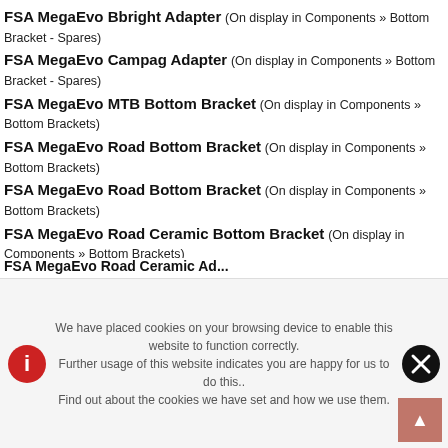FSA MegaEvo Bbright Adapter (On display in Components » Bottom Bracket - Spares)
FSA MegaEvo Campag Adapter (On display in Components » Bottom Bracket - Spares)
FSA MegaEvo MTB Bottom Bracket (On display in Components » Bottom Brackets)
FSA MegaEvo Road Bottom Bracket (On display in Components » Bottom Brackets)
FSA MegaEvo Road Bottom Bracket (On display in Components » Bottom Brackets)
FSA MegaEvo Road Ceramic Bottom Bracket (On display in Components » Bottom Brackets)
We have placed cookies on your browsing device to enable this website to function correctly. Further usage of this website indicates you are happy for us to do this.. Find out about the cookies we have set and how we use them.